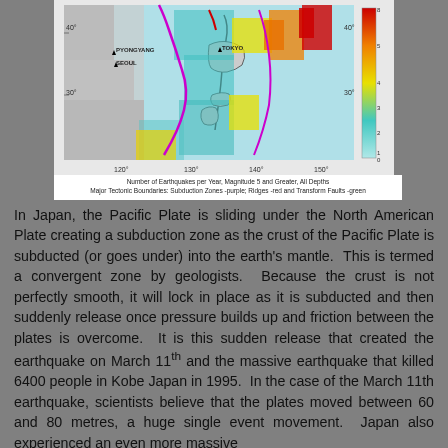[Figure (map): Map showing earthquake frequency near Japan and surrounding region. Color scale indicates Number of Earthquakes per Year, Magnitude 5 and Greater, All Depths. Major Tectonic Boundaries shown: Subduction Zones-purple, Ridges-red, Transform Faults-green. Latitude 30-40 degrees N, Longitude 120-150 degrees E.]
Number of Earthquakes per Year, Magnitude 5 and Greater, All Depths
Major Tectonic Boundaries: Subduction Zones -purple; Ridges -red and Transform Faults -green
In Japan, the Pacific Plate is sliding under the North American Plate creating a subduction zone as the crust of the Pacific Plate is subducted (or goes under) into the earth's mantle.  This is termed a convergent zone by geologists.  Because the crust is not perfectly smooth, it will lock in place as it is subducted and then suddenly release once pressure builds up and friction between the plates is overcome.  It is this sudden release that created the earthquake on March 11th and the massive earthquake that killed 6400 people in Kobe Japan in 1995.  In the case of the March 11th earthquake, scientists believe that the plates moved between 60 and 80 metres, a huge single event movement.  Japan also experienced an even more massive